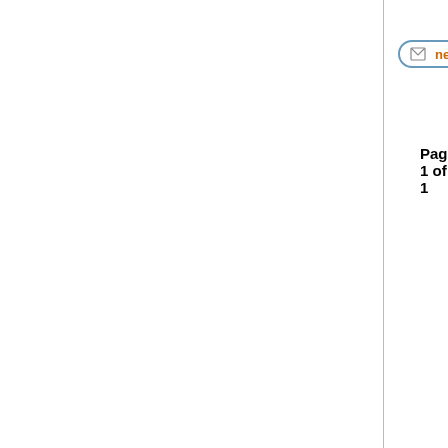NeoOffice Forum Index -> NeoOffice Releases
[Figure (screenshot): New Topic button with envelope icon]
[Figure (screenshot): Post Reply button with envelope icon]
Page 1 of 1
You cannot post messages. You cannot reply. You cannot edit. You cannot delete. You cannot vote. You cannot attach. You cannot download.
Powered by phpBB © 2001, 2005 phpBB Group
All logos and trademarks in this site are property of their respective owner. The comments are property of their posters, all the rest © Planamesa Inc.
NeoOffice is a registered trademark of Planamesa Inc. and may not be used without permission.
PHP-Nuke Copyright © 2005 by Francisco Burzi. This is free software, and you may redistribute it under the GPL. PHP-Nuke comes with absolutely no warranty, for details, see the license.
Page Generation: 0.05 Seconds